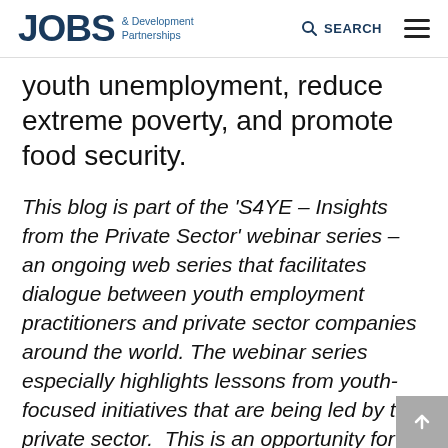JOBS & Development Partnerships | SEARCH
youth unemployment, reduce extreme poverty, and promote food security.
This blog is part of the ‘S4YE – Insights from the Private Sector’ webinar series – an ongoing web series that facilitates dialogue between youth employment practitioners and private sector companies around the world. The webinar series especially highlights lessons from youth-focused initiatives that are being led by the private sector.  This is an opportunity for the community to connect, learn from